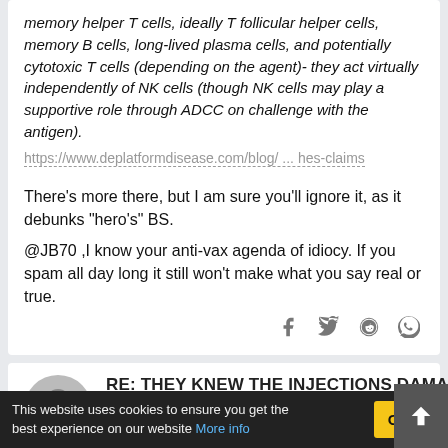memory helper T cells, ideally T follicular helper cells, memory B cells, long-lived plasma cells, and potentially cytotoxic T cells (depending on the agent)- they act virtually independently of NK cells (though NK cells may play a supportive role through ADCC on challenge with the antigen).
https://www.deplatformdisease.com/blog/ ... hes-claims
There's more there, but I am sure you'll ignore it, as it debunks "hero's" BS.
@JB70 ,I know your anti-vax agenda of idiocy. If you spam all day long it still won't make what you say say real or true.
RE: THEY KNEW THE INJECTIONS DAMA
By JB70
This website uses cookies to ensure you get the best experience on our website More info